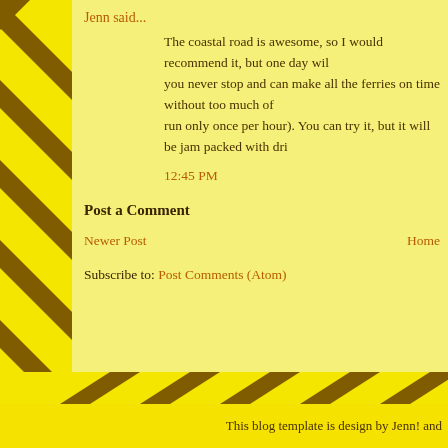Jenn said...
The coastal road is awesome, so I would recommend it, but one day wil you never stop and can make all the ferries on time without too much of run only once per hour). You can try it, but it will be jam packed with dri
12:45 PM
Post a Comment
Newer Post
Home
Subscribe to: Post Comments (Atom)
This blog template is design by Jenn! and